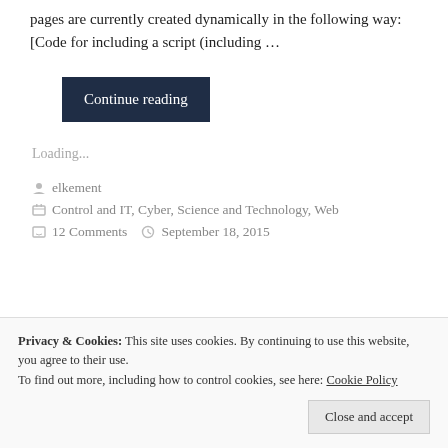pages are currently created dynamically in the following way: [Code for including a script (including …
Continue reading
Loading...
elkement
Control and IT, Cyber, Science and Technology, Web
12 Comments    September 18, 2015
Privacy & Cookies: This site uses cookies. By continuing to use this website, you agree to their use. To find out more, including how to control cookies, see here: Cookie Policy
Close and accept